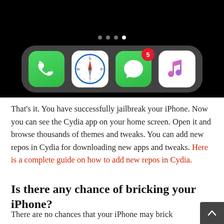[Figure (screenshot): iPhone home screen dock showing Phone, Safari, Messages (with badge 5), and Music app icons on a dark background with page indicator dots]
That's it. You have successfully jailbreak your iPhone. Now you can see the Cydia app on your home screen. Open it and browse thousands of themes and tweaks. You can add new repos in Cydia for downloading new apps and tweaks. Here is a complete guide on how to add new repos in Cydia.
Is there any chance of bricking your iPhone?
There are no chances that your iPhone may brick during jailbreak unless you use untrusted sources to jailbreak your iPhone. There were a few reports of bricking an iPhone